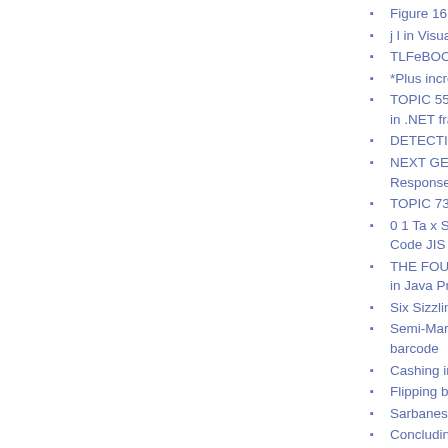Figure 16 Proje
j l in Visual Stu
TLFeBOOK in
*Plus increases
TOPIC 55: INV in .NET framew
DETECTION O
NEXT GENER Response Cod
TOPIC 73: SO
0 1 Ta x S e c r Code JIS X 05
THE FOUR-ST in Java Printer
Six Sizzling Ma
Semi-Markov D barcode
Cashing in in V
Flipping before
Sarbanes-Oxle
Concluding rem
TOPIC 85: GIF QR Bar Code
Summary/conc